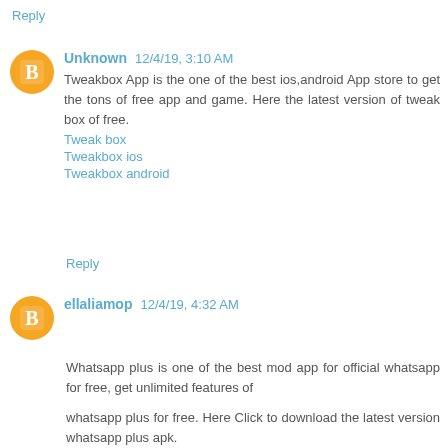Reply
Unknown 12/4/19, 3:10 AM
Tweakbox App is the one of the best ios,android App store to get the tons of free app and game. Here the latest version of tweak box of free.
Tweak box
Tweakbox ios
Tweakbox android
Reply
ellaliamop 12/4/19, 4:32 AM
Whatsapp plus is one of the best mod app for official whatsapp for free, get unlimited features of

whatsapp plus for free. Here Click to download the latest version whatsapp plus apk.